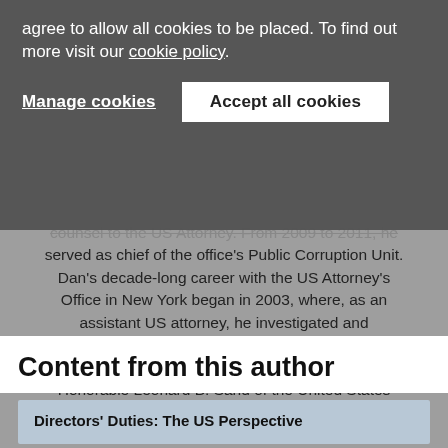agree to allow all cookies to be placed. To find out more visit our cookie policy.
Manage cookies
Accept all cookies
counsel to the US Attorney. From 2009 to 2011, he served as chief of the office's Public Corruption Unit. Dan's decade-long career with the US Attorney's Office in New York began in 2003, where, as an assistant US attorney, he investigated and prosecuted cases involving a wide range of federal crimes. Earlier in his career, Dan clerked for the Honorable Leonard B. Sand of the United States District Court for the SDNY.
Content from this author
Directors' Duties: The US Perspective